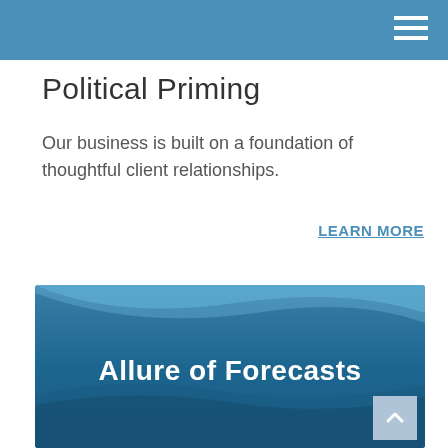Political Priming
Our business is built on a foundation of thoughtful client relationships.
LEARN MORE
[Figure (screenshot): Blue wave-themed presentation slide with bold white text reading 'Allure of Forecasts' on a gradient blue background with wavy design elements.]